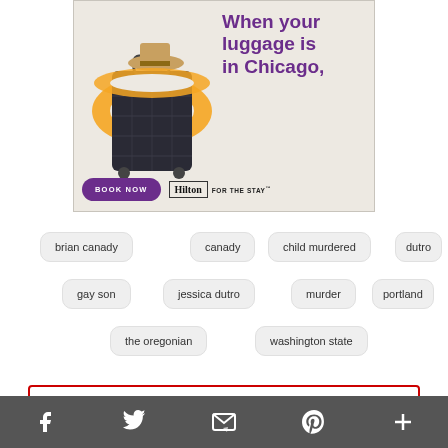[Figure (illustration): Advertisement banner with an orange inflatable ring around a dark suitcase with a hat on top. Purple headline text reads 'When your luggage is in Chicago,' with a 'BOOK NOW' button and Hilton logo with 'FOR THE STAY' tagline.]
brian canady
canady
child murdered
dutro
gay son
jessica dutro
murder
portland
the oregonian
washington state
Facebook | Twitter | Email | Pinterest | More